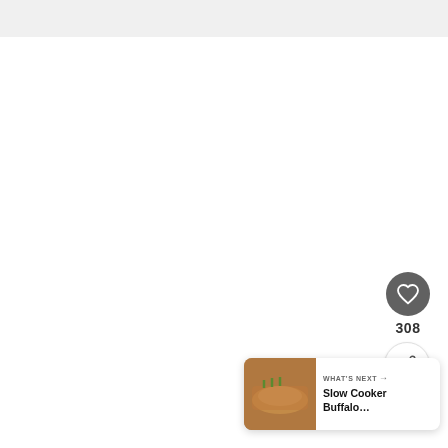[Figure (screenshot): Website screenshot showing a light gray top banner bar, a large white content area, a circular dark gray heart/favorite button with heart icon, a count of 308, a circular share button, and a 'What's Next' card in the bottom right showing a food thumbnail and text 'Slow Cooker Buffalo...']
308
WHAT'S NEXT → Slow Cooker Buffalo...